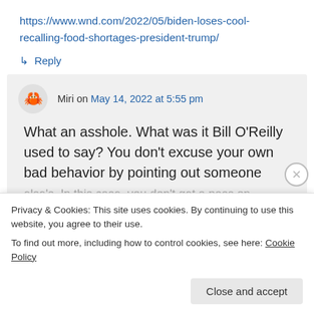https://www.wnd.com/2022/05/biden-loses-cool-recalling-food-shortages-president-trump/
↳ Reply
Miri on May 14, 2022 at 5:55 pm
What an asshole. What was it Bill O'Reilly used to say? You don't excuse your own bad behavior by pointing out someone else's. In this case, you don't get a pass on
Privacy & Cookies: This site uses cookies. By continuing to use this website, you agree to their use.
To find out more, including how to control cookies, see here: Cookie Policy